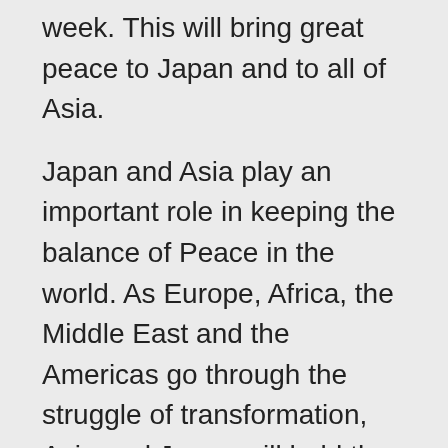week. This will bring great peace to Japan and to all of Asia.
Japan and Asia play an important role in keeping the balance of Peace in the world. As Europe, Africa, the Middle East and the Americas go through the struggle of transformation, Asia and Japan will hold the energy of Peace, Love and Compassion.
Sanat Kumara has called on all women to tune in beginning today to hold the energy for this event to take place. Each evening before you go to sleep, visualize your higher self in union with the Divine Feminine. Call upon your ancient memories of being a master during the time of Avalon